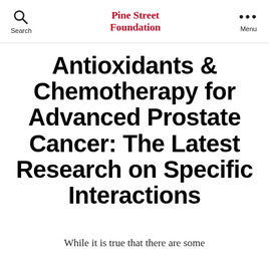Search | Pine Street Foundation | Menu
Antioxidants & Chemotherapy for Advanced Prostate Cancer: The Latest Research on Specific Interactions
While it is true that there are some antioxidants that have a high dose that are used